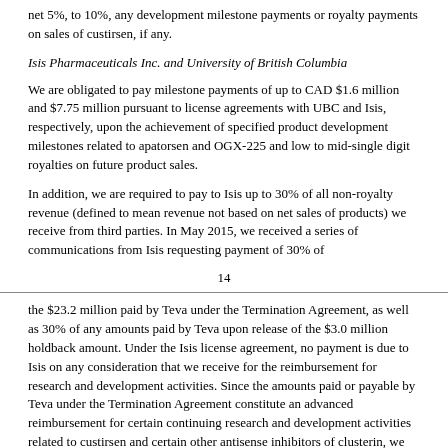net 5%, to 10%, any development milestone payments or royalty payments on sales of custirsen, if any.
Isis Pharmaceuticals Inc. and University of British Columbia
We are obligated to pay milestone payments of up to CAD $1.6 million and $7.75 million pursuant to license agreements with UBC and Isis, respectively, upon the achievement of specified product development milestones related to apatorsen and OGX-225 and low to mid-single digit royalties on future product sales.
In addition, we are required to pay to Isis up to 30% of all non-royalty revenue (defined to mean revenue not based on net sales of products) we receive from third parties. In May 2015, we received a series of communications from Isis requesting payment of 30% of
14
the $23.2 million paid by Teva under the Termination Agreement, as well as 30% of any amounts paid by Teva upon release of the $3.0 million holdback amount. Under the Isis license agreement, no payment is due to Isis on any consideration that we receive for the reimbursement for research and development activities. Since the amounts paid or payable by Teva under the Termination Agreement constitute an advanced reimbursement for certain continuing research and development activities related to custirsen and certain other antisense inhibitors of clusterin, we do not believe that any payments are due to Isis. We are also obligated to pay to UBC certain patent costs and annual license maintenance fees for the extent of the patent life of CAD $8,000 per